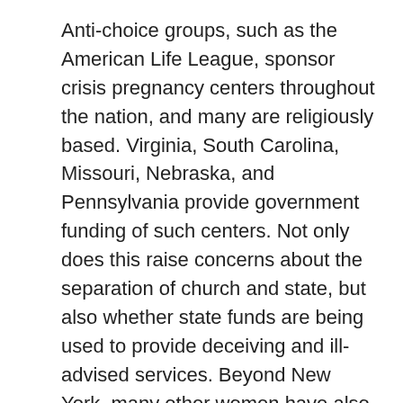Anti-choice groups, such as the American Life League, sponsor crisis pregnancy centers throughout the nation, and many are religiously based. Virginia, South Carolina, Missouri, Nebraska, and Pennsylvania provide government funding of such centers. Not only does this raise concerns about the separation of church and state, but also whether state funds are being used to provide deceiving and ill-advised services. Beyond New York, many other women have also complained about services rendered at crisis pregnancy centers, indicating that they were subject to undue pressure not to have an abortion, that they were emotionally traumatized, and that they were the victims of deceptive advertising. Between 1983 and 1996, nineteen lawsuits were